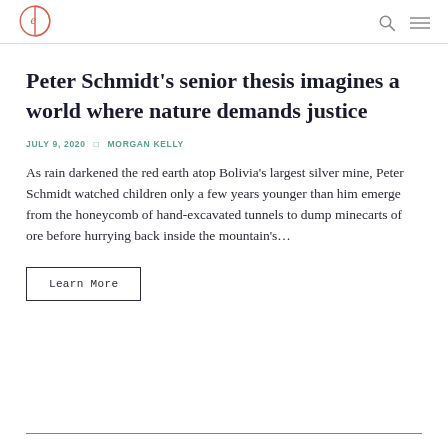Logo | Search | Menu
Peter Schmidt’s senior thesis imagines a world where nature demands justice
JULY 9, 2020 □ MORGAN KELLY
As rain darkened the red earth atop Bolivia’s largest silver mine, Peter Schmidt watched children only a few years younger than him emerge from the honeycomb of hand-excavated tunnels to dump minecarts of ore before hurrying back inside the mountain’s…
Learn More